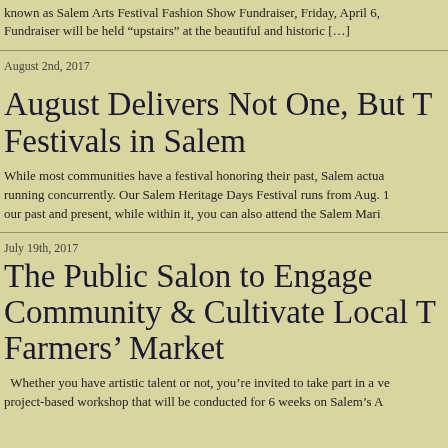known as Salem Arts Festival Fashion Show Fundraiser, Friday, April 6, Fundraiser will be held “upstairs” at the beautiful and historic […]
August 2nd, 2017
August Delivers Not One, But T Festivals in Salem
While most communities have a festival honoring their past, Salem actua running concurrently. Our Salem Heritage Days Festival runs from Aug. 1 our past and present, while within it, you can also attend the Salem Mari
July 19th, 2017
The Public Salon to Engage Community & Cultivate Local T Farmers' Market
Whether you have artistic talent or not, you're invited to take part in a ve project-based workshop that will be conducted for 6 weeks on Salem's A